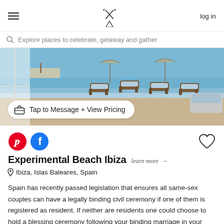log in
Explore places to celebrate, getaway and gather
[Figure (photo): Outdoor beach club terrace with sun loungers, wooden furniture, blue cushions, and sea in the background. A button overlay reads 'Tap to Message + View Pricing'.]
Experimental Beach Ibiza  learn more →
Ibiza, Islas Baleares, Spain
Spain has recently passed legislation that ensures all same-sex couples can have a legally binding civil ceremony if one of them is registered as resident. If neither are residents one could choose to hold a blessing ceremony following your binding marriage in your